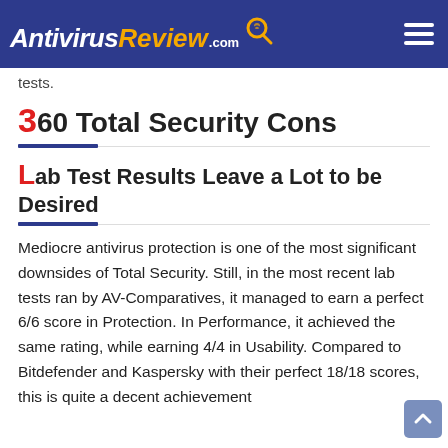AntivirusReview.com
tests.
360 Total Security Cons
Lab Test Results Leave a Lot to be Desired
Mediocre antivirus protection is one of the most significant downsides of Total Security. Still, in the most recent lab tests ran by AV-Comparatives, it managed to earn a perfect 6/6 score in Protection. In Performance, it achieved the same rating, while earning 4/4 in Usability. Compared to Bitdefender and Kaspersky with their perfect 18/18 scores, this is quite a decent achievement